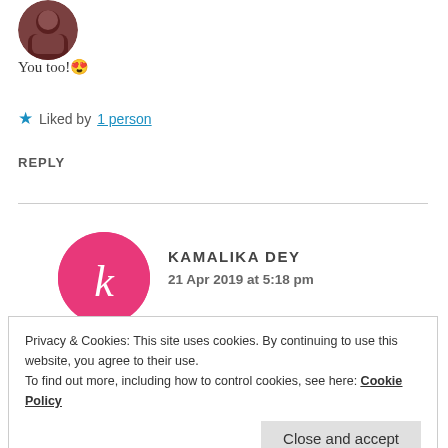[Figure (photo): Circular profile photo avatar with dark reddish-brown tones]
You too! 😊
★ Liked by 1 person
REPLY
[Figure (illustration): Pink circle avatar with lowercase italic letter k in white]
KAMALIKA DEY
21 Apr 2019 at 5:18 pm
Privacy & Cookies: This site uses cookies. By continuing to use this website, you agree to their use.
To find out more, including how to control cookies, see here: Cookie Policy
Close and accept